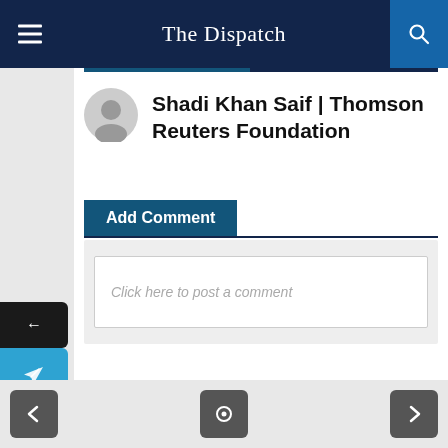The Dispatch
Shadi Khan Saif | Thomson Reuters Foundation
Add Comment
Click here to post a comment
Topics